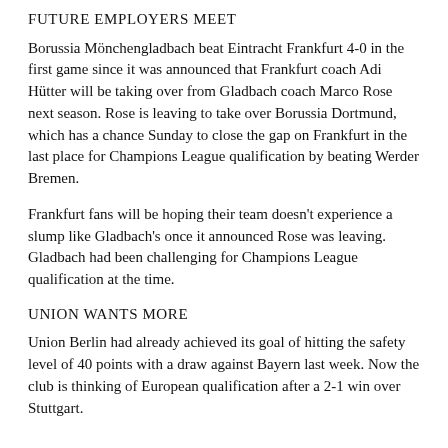FUTURE EMPLOYERS MEET
Borussia Mönchengladbach beat Eintracht Frankfurt 4-0 in the first game since it was announced that Frankfurt coach Adi Hütter will be taking over from Gladbach coach Marco Rose next season. Rose is leaving to take over Borussia Dortmund, which has a chance Sunday to close the gap on Frankfurt in the last place for Champions League qualification by beating Werder Bremen.
Frankfurt fans will be hoping their team doesn't experience a slump like Gladbach's once it announced Rose was leaving. Gladbach had been challenging for Champions League qualification at the time.
UNION WANTS MORE
Union Berlin had already achieved its goal of hitting the safety level of 40 points with a draw against Bayern last week. Now the club is thinking of European qualification after a 2-1 win over Stuttgart.